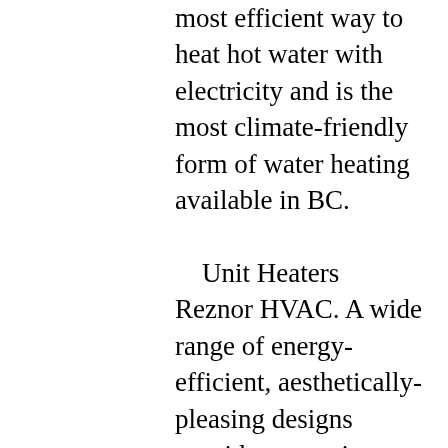most efficient way to heat hot water with electricity and is the most climate-friendly form of water heating available in BC.
Unit Heaters Reznor HVAC. A wide range of energy-efficient, aesthetically-pleasing designs provide many sizes and types to choose from while delivering a durable design with a showroom appearance. Featured Unit Heaters. Power vented, high static blower fan commercial/industrial unit heater. Separated combustion, high